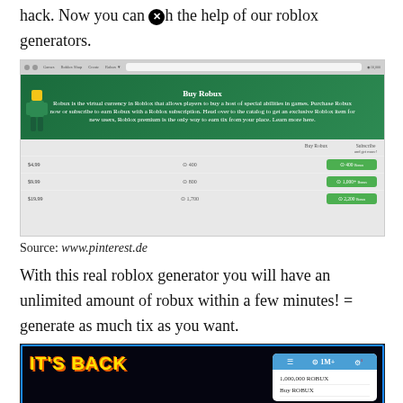hack. Now you can with the help of our roblox generators.
[Figure (screenshot): Screenshot of Roblox 'Buy Robux' page showing pricing tiers: $4.99 for 400 Robux, $9.99 for 800 Robux, $19.99 for 1,700 Robux with Subscribe options]
Source: www.pinterest.de
With this real roblox generator you will have an unlimited amount of robux within a few minutes! = generate as much tix as you want.
[Figure (screenshot): Screenshot of a Roblox hack promotion image showing 'IT'S BACK' text, a 'Confirm/Save' button, a panel showing '1,000,000 ROBUX' and 'Buy ROBUX', and 'THE EASY HACK' text at the bottom]